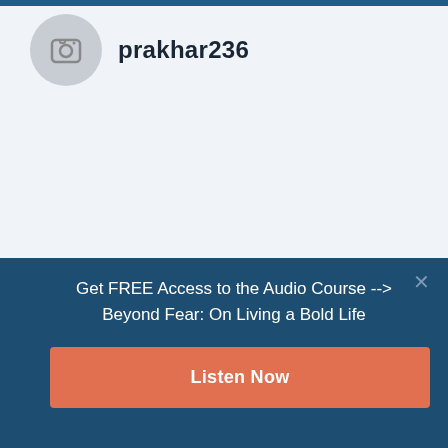[Figure (screenshot): Instagram-style profile page with username prakhar236 and a circular avatar with a camera icon]
prakhar236
Get FREE Access to the Audio Course --> Beyond Fear: On Living a Bold Life
Listen Now